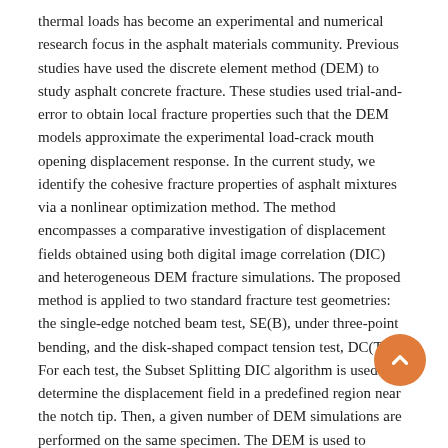thermal loads has become an experimental and numerical research focus in the asphalt materials community. Previous studies have used the discrete element method (DEM) to study asphalt concrete fracture. These studies used trial-and-error to obtain local fracture properties such that the DEM models approximate the experimental load-crack mouth opening displacement response. In the current study, we identify the cohesive fracture properties of asphalt mixtures via a nonlinear optimization method. The method encompasses a comparative investigation of displacement fields obtained using both digital image correlation (DIC) and heterogeneous DEM fracture simulations. The proposed method is applied to two standard fracture test geometries: the single-edge notched beam test, SE(B), under three-point bending, and the disk-shaped compact tension test, DC(T). For each test, the Subset Splitting DIC algorithm is used to determine the displacement field in a predefined region near the notch tip. Then, a given number of DEM simulations are performed on the same specimen. The DEM is used to simulate the fracture of asphalt concrete with a linear softening cohesive contact model, where fracture-related properties (e.g., maximum tensile force and maximum crack opening) are varied within a predefined range. The difference between DIC and DEM displacement fields from a set of